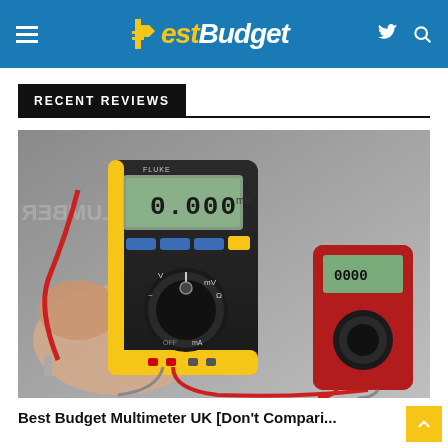BestBudget
RECENT REVIEWS
[Figure (photo): Hands holding a yellow and black Fluke digital multimeter showing 0.000 on display, with a red multimeter in the background on a grey surface with text 'NATIONAL PLUMBER']
Best Budget Multimeter UK [Don't Compari...